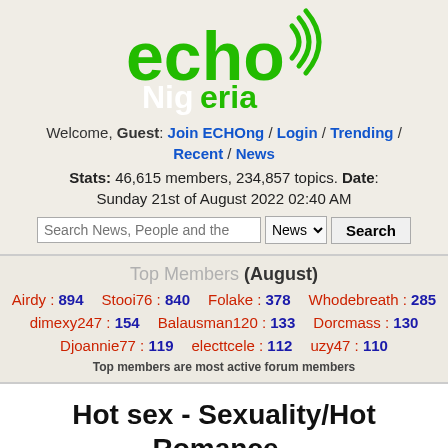[Figure (logo): Echo Nigeria logo with green stylized text 'echo' with wifi/sound waves and 'Nigeria' below it in green with white letters for 'Nig']
Welcome, Guest: Join ECHOng / Login / Trending / Recent / News
Stats: 46,615 members, 234,857 topics. Date: Sunday 21st of August 2022 02:40 AM
Search News, People and the [News dropdown] Search
Top Members (August)
Airdy : 894   Stooi76 : 840   Folake : 378   Whodebreath : 285
dimexy247 : 154   Balausman120 : 133   Dorcmass : 130
Djoannie77 : 119   electtcele : 112   uzy47 : 110
Top members are most active forum members
Hot sex - Sexuality/Hot Romance - ECHOnigeria